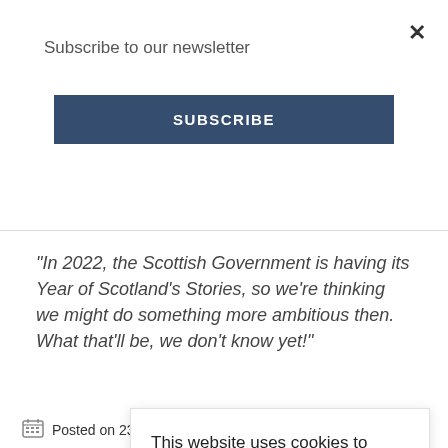Subscribe to our newsletter
SUBSCRIBE
"In 2022, the Scottish Government is having its Year of Scotland's Stories, so we're thinking we might do something more ambitious then. What that'll be, we don't know yet!"
Visit
prog
The
Scot
LEAR
This website uses cookies to ensure you get the best experience on our website.
Learn more
Got it!
Posted on 23rd September 2019, Visit Orkney, Life